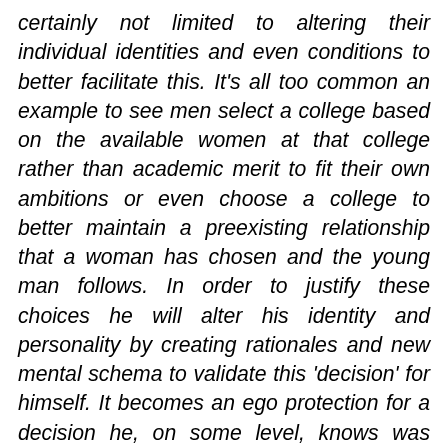certainly not limited to altering their individual identities and even conditions to better facilitate this. It's all too common an example to see men select a college based on the available women at that college rather than academic merit to fit their own ambitions or even choose a college to better maintain a preexisting relationship that a woman has chosen and the young man follows. In order to justify these choices he will alter his identity and personality by creating rationales and new mental schema to validate this 'decision' for himself. It becomes an ego protection for a decision he, on some level, knows was made for him.